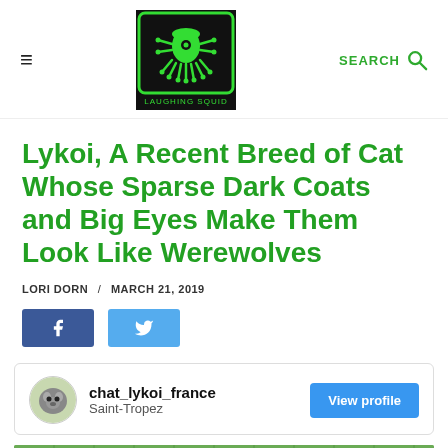Laughing Squid - navigation header with hamburger menu, logo, and search
Lykoi, A Recent Breed of Cat Whose Sparse Dark Coats and Big Eyes Make Them Look Like Werewolves
LORI DORN / MARCH 21, 2019
[Figure (other): Facebook share button and Twitter share button]
[Figure (other): Instagram profile card for chat_lykoi_france from Saint-Tropez with a View profile button]